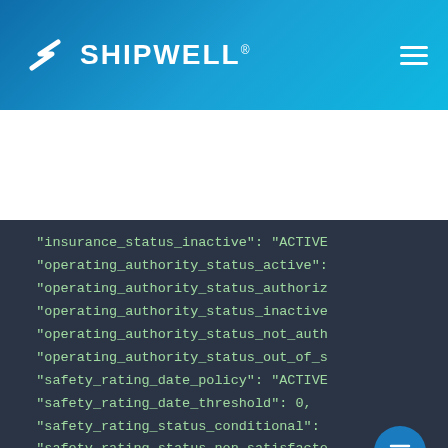[Figure (screenshot): Shipwell logo and navigation bar with blue gradient background]
[Figure (screenshot): JSON code block showing API response fields including insurance_status_inactive, operating_authority_status fields, safety_rating fields on dark background]
Response samples